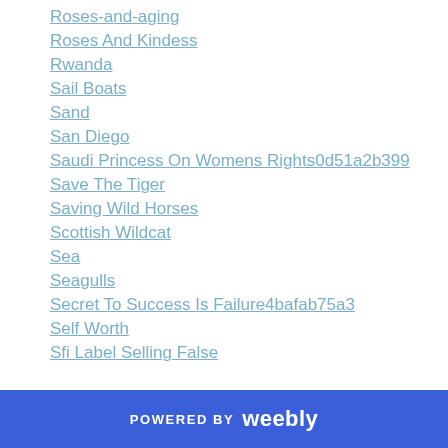Roses-and-aging
Roses And Kindess
Rwanda
Sail Boats
Sand
San Diego
Saudi Princess On Womens Rights0d51a2b399
Save The Tiger
Saving Wild Horses
Scottish Wildcat
Sea
Seagulls
Secret To Success Is Failure4bafab75a3
Self Worth
Sfi Label Selling False
POWERED BY weebly